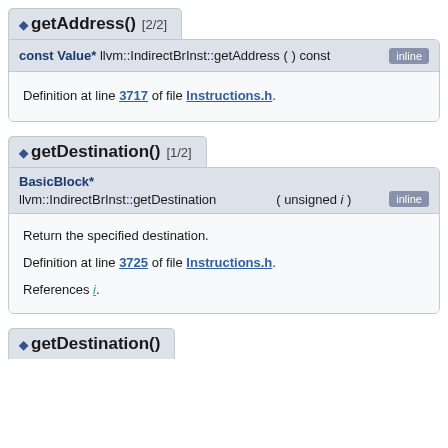getAddress() [2/2]
const Value* llvm::IndirectBrInst::getAddress ( ) const inline
Definition at line 3717 of file Instructions.h.
getDestination() [1/2]
BasicBlock* llvm::IndirectBrInst::getDestination ( unsigned i ) inline
Return the specified destination.
Definition at line 3725 of file Instructions.h.
References i.
getDestination()